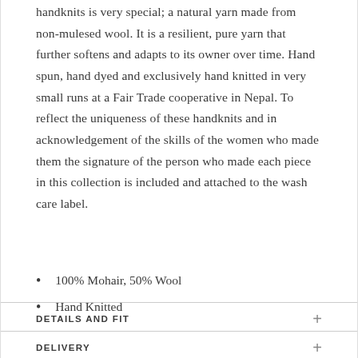handknits is very special; a natural yarn made from non-mulesed wool. It is a resilient, pure yarn that further softens and adapts to its owner over time. Hand spun, hand dyed and exclusively hand knitted in very small runs at a Fair Trade cooperative in Nepal. To reflect the uniqueness of these handknits and in acknowledgement of the skills of the women who made them the signature of the person who made each piece in this collection is included and attached to the wash care label.
100% Mohair, 50% Wool
Hand Knitted
DETAILS AND FIT
DELIVERY